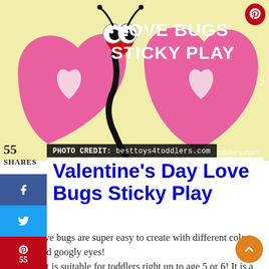[Figure (photo): A felt love bug craft made from pink heart-shaped wings, red heart head with googly eyes, and black yarn body, on a yellow background. Text overlay reads 'LOVE BUGS STICKY PLAY' and 'www.besttoys4toddlers.com']
PHOTO CREDIT: besttoys4toddlers.com
Valentine's Day Love Bugs Sticky Play
These love bugs are super easy to create with different colors of felt and googly eyes!
This craft is suitable for toddlers right up to age 5 or 6! It is a good way to introduce colors and